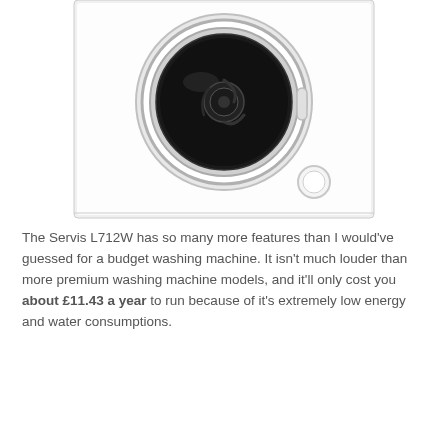[Figure (photo): Front-facing photo of a white washing machine (Servis L712W) showing the circular door with dark drum interior, door handle, and a small circular control element at the bottom right of the front panel.]
The Servis L712W has so many more features than I would've guessed for a budget washing machine. It isn't much louder than more premium washing machine models, and it'll only cost you about £11.43 a year to run because of it's extremely low energy and water consumptions.